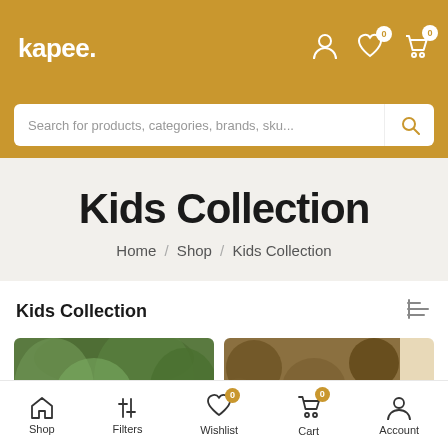kapee.
Search for products, categories, brands, sku...
Kids Collection
Home / Shop / Kids Collection
Kids Collection
[Figure (screenshot): Two product image thumbnails for Kids Collection. Left card shows a nature/trees image with a FEATURED badge. Right card shows a brown/logs texture image with a light beige placeholder in upper right.]
Shop  Filters  Wishlist  Cart  Account